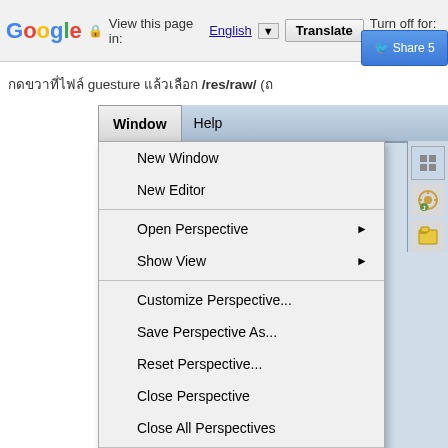[Figure (screenshot): Google Translate browser bar showing 'View this page in: English [dropdown] Translate | Turn off for: T']
กดขวาที่ไฟล์ guesture แล้วเลือก /res/raw/ (ถ...
[Figure (screenshot): Eclipse IDE Window menu open showing: New Window, New Editor, Open Perspective (with submenu arrow), Show View (with submenu arrow), Customize Perspective..., Save Perspective As..., Reset Perspective..., Close Perspective, Close All Perspectives, Navigation (with submenu arrow), Android SDK Manager, AVD Manager, Run Android Lint (with submenu arrow)]